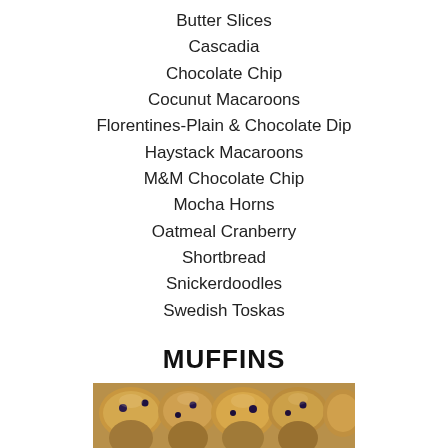Butter Slices
Cascadia
Chocolate Chip
Cocunut Macaroons
Florentines-Plain & Chocolate Dip
Haystack Macaroons
M&M Chocolate Chip
Mocha Horns
Oatmeal Cranberry
Shortbread
Snickerdoodles
Swedish Toskas
MUFFINS
[Figure (photo): Close-up photo of muffins]